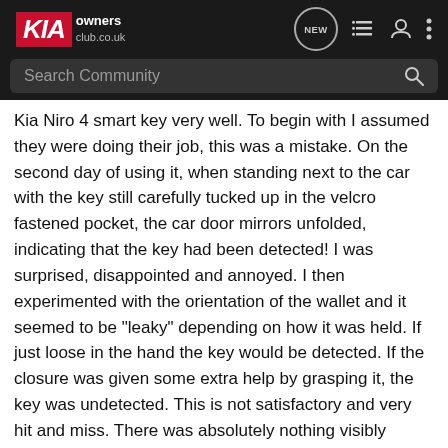KIA owners club.co.uk — navigation bar with NEW, list, user, more icons and Search Community bar
Kia Niro 4 smart key very well. To begin with I assumed they were doing their job, this was a mistake. On the second day of using it, when standing next to the car with the key still carefully tucked up in the velcro fastened pocket, the car door mirrors unfolded, indicating that the key had been detected! I was surprised, disappointed and annoyed. I then experimented with the orientation of the wallet and it seemed to be "leaky" depending on how it was held. If just loose in the hand the key would be detected. If the closure was given some extra help by grasping it, the key was undetected. This is not satisfactory and very hit and miss. There was absolutely nothing visibly wrong with it. It looked well made and had only been used for a day. To cap it all the other wallet behaved in exactly the same way. I dare say that they reduce the RF signal strength but in my experience do not block it. As I do not know how sensitive the